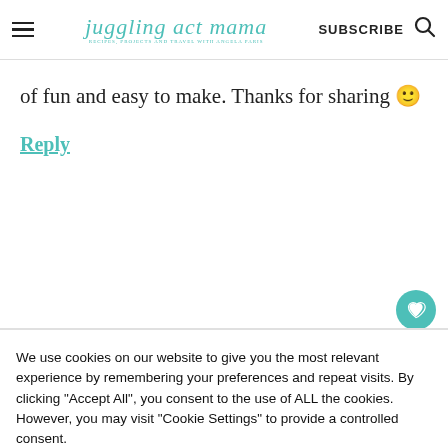juggling act mama — RECIPES, PROJECTS AND TRAVEL WITH ANGELA PARIS | SUBSCRIBE
of fun and easy to make. Thanks for sharing 🙂
Reply
We use cookies on our website to give you the most relevant experience by remembering your preferences and repeat visits. By clicking "Accept All", you consent to the use of ALL the cookies. However, you may visit "Cookie Settings" to provide a controlled consent.
Cookie Settings | Accept All